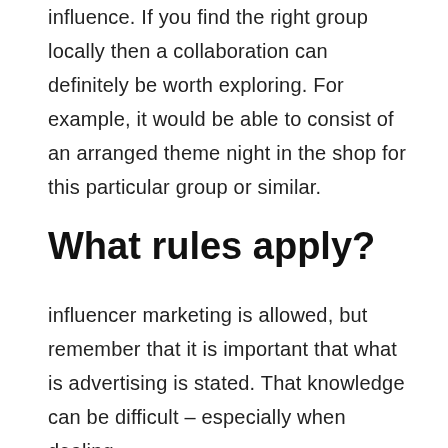influence. If you find the right group locally then a collaboration can definitely be worth exploring. For example, it would be able to consist of an arranged theme night in the shop for this particular group or similar.
What rules apply?
influencer marketing is allowed, but remember that it is important that what is advertising is stated. That knowledge can be difficult – especially when dealing